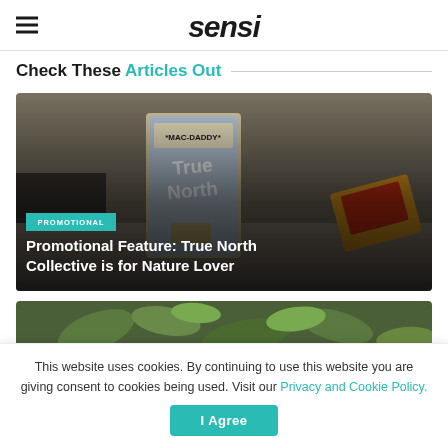sensi
Check These Articles Out
[Figure (photo): Photo of a MAC-DADDY True North Collective cannabis packaging on a desk with sunglasses and colorful packaging in the background]
PROMOTIONAL
Promotional Feature: True North Collective is for Nature Lover
[Figure (photo): Partial photo showing cannabis plant leaves in green tones]
This website uses cookies. By continuing to use this website you are giving consent to cookies being used. Visit our Privacy and Cookie Policy.
I Agree